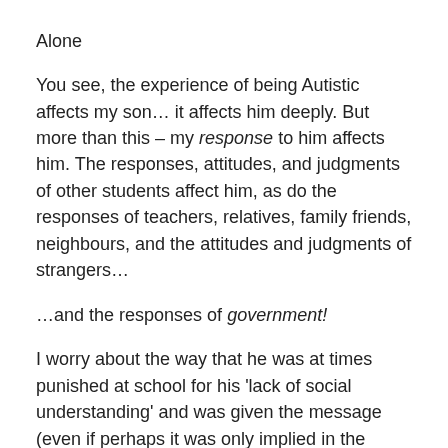Alone
You see, the experience of being Autistic affects my son… it affects him deeply. But more than this – my response to him affects him. The responses, attitudes, and judgments of other students affect him, as do the responses of teachers, relatives, family friends, neighbours, and the attitudes and judgments of strangers…
…and the responses of government!
I worry about the way that he was at times punished at school for his 'lack of social understanding' and was given the message (even if perhaps it was only implied in the reaction of others) that he was bad. I worry about the lingering effects of that message on his development of a sense of self and that he may feel that he lacks worth – or